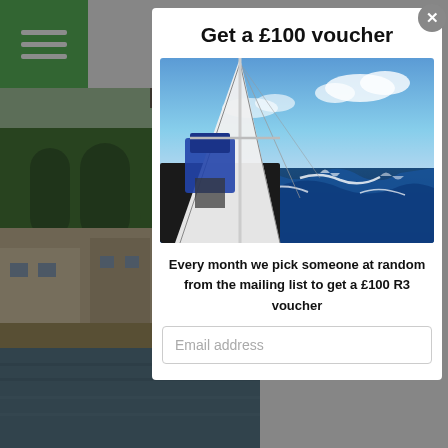[Figure (screenshot): Website screenshot showing a modal popup overlay over a sailing/boating website. Background shows a harbor photo on the left with a green menu hamburger button top-left, a green cart button with £0.00, and partial text 'smouth'. The modal overlays the right portion with a title 'Get a £100 voucher', a sailing boat photo, body text, and an email input field.]
Get a £100 voucher
[Figure (photo): Photo of a sailing yacht on the water, taken from the deck looking along the boom/mast with white sails, rigging, and rough blue seas with white-capped waves under a blue sky.]
Every month we pick someone at random from the mailing list to get a £100 R3 voucher